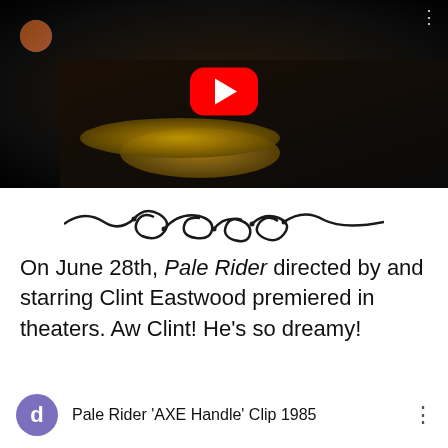[Figure (screenshot): YouTube video thumbnail showing a dark cave scene with a person and coins, with a red YouTube play button in the center]
[Figure (illustration): Decorative ornamental divider with scrollwork and flourish design in black]
On June 28th, Pale Rider directed by and starring Clint Eastwood premiered in theaters. Aw Clint! He's so dreamy!
[Figure (screenshot): YouTube video thumbnail for 'Pale Rider AXE Handle Clip 1985' with a purple avatar showing 'd', mountain scenery and a figure in the background]